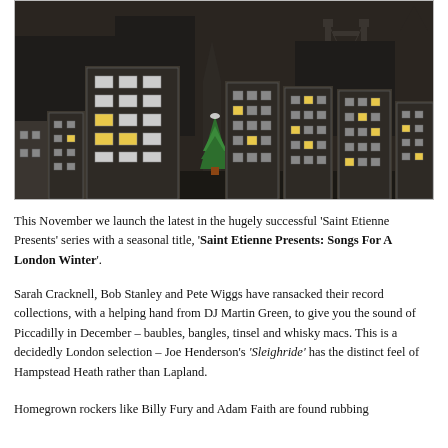[Figure (illustration): Stylized illustration of a London city skyline at night with dark silhouetted buildings, lit windows in yellow/orange, a Christmas tree at center, a church spire, and Tower Bridge visible in the background.]
This November we launch the latest in the hugely successful 'Saint Etienne Presents' series with a seasonal title, 'Saint Etienne Presents: Songs For A London Winter'.
Sarah Cracknell, Bob Stanley and Pete Wiggs have ransacked their record collections, with a helping hand from DJ Martin Green, to give you the sound of Piccadilly in December – baubles, bangles, tinsel and whisky macs. This is a decidedly London selection – Joe Henderson's 'Sleighride' has the distinct feel of Hampstead Heath rather than Lapland.
Homegrown rockers like Billy Fury and Adam Faith are found rubbing